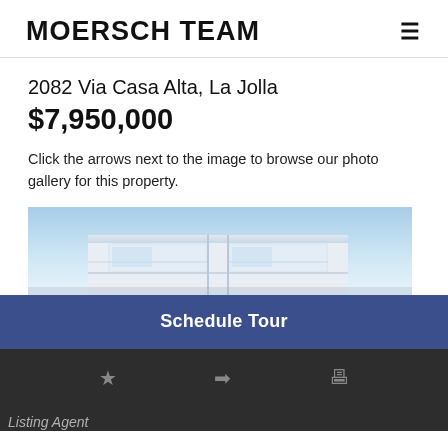MOERSCH TEAM
2082 Via Casa Alta, La Jolla
$7,950,000
Click the arrows next to the image to browse our photo gallery for this property.
[Figure (photo): Exterior aerial view of a modern white residential property with flat roof and balconies against a blue sky]
Schedule Tour
Listing Agent